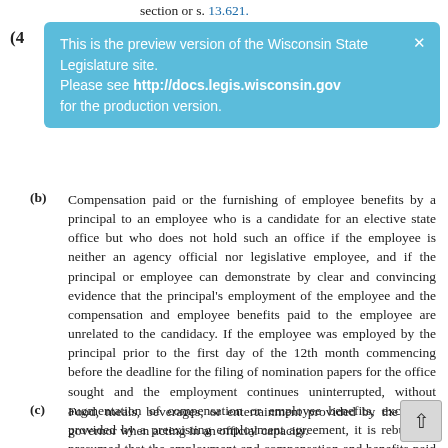section or s. 13.621.
(4
[Figure (other): Blue banner notification: 'This is the preview version of the Wisconsin State Legislature site. Please see http://docs.legis.wisconsin.gov for the production version.' with a close X button.]
(b) Compensation paid or the furnishing of employee benefits by a principal to an employee who is a candidate for an elective state office but who does not hold such an office if the employee is neither an agency official nor legislative employee, and if the principal or employee can demonstrate by clear and convincing evidence that the principal's employment of the employee and the compensation and employee benefits paid to the employee are unrelated to the candidacy. If the employee was employed by the principal prior to the first day of the 12th month commencing before the deadline for the filing of nomination papers for the office sought and the employment continues uninterrupted, without augmentation of compensation or employee benefits, except as provided by a preexisting employment agreement, it is rebuttably presumed that the employment and compensation and benefits paid are unrelated to the candidacy.
(c) Food, meals, beverages, or entertainment provided by the governor when acting in an official capacity.